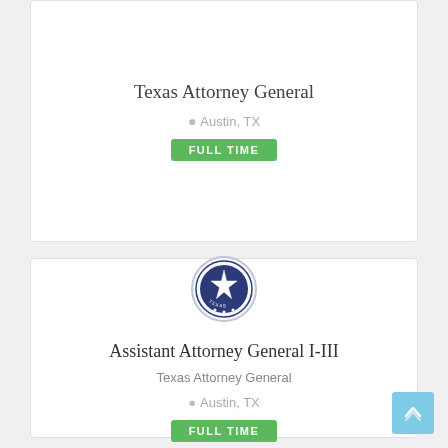Texas Attorney General
Austin, TX
FULL TIME
[Figure (logo): Texas Attorney General official seal — circular emblem with star and text]
Assistant Attorney General I-III
Texas Attorney General
Austin, TX
FULL TIME
[Figure (logo): Texas Attorney General official seal — circular emblem with star and text]